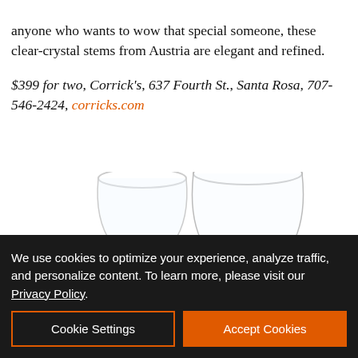anyone who wants to wow that special someone, these clear-crystal stems from Austria are elegant and refined. $399 for two, Corrick's, 637 Fourth St., Santa Rosa, 707-546-2424, corricks.com
[Figure (photo): Two clear crystal stemless wine glasses, partially visible]
[Figure (other): Granite Transformations advertisement banner: 'GET YOUR FREE CONSULTATION' with Granite Transformations logo for Kitchens & Baths]
We use cookies to optimize your experience, analyze traffic, and personalize content. To learn more, please visit our Privacy Policy.
Cookie Settings | Accept Cookies